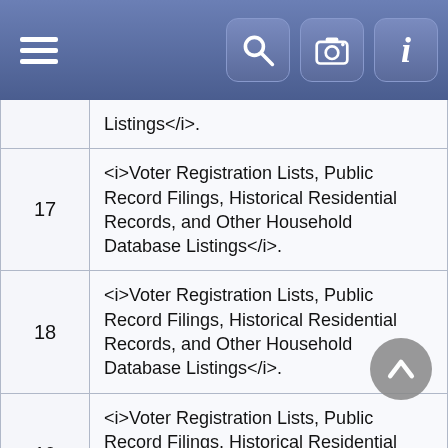Navigation bar with hamburger menu, search, camera, and info icons
| # | Source |
| --- | --- |
|  | Listings</i>. |
| 17 | <i>Voter Registration Lists, Public Record Filings, Historical Residential Records, and Other Household Database Listings</i>. |
| 18 | <i>Voter Registration Lists, Public Record Filings, Historical Residential Records, and Other Household Database Listings</i>. |
| 19 | <i>Voter Registration Lists, Public Record Filings, Historical Residential Records, and Other Household Database Listings</i>. |
| 20 | <i>Voter Registration Lists, Public Record Filings, Historical Residential Records, and Other Household Database Listings</i>. |
| 21 | <i>Voter Registration Lists, Public Record Filings, Historical Residential Records, and Other Household Database Listings</i>. |